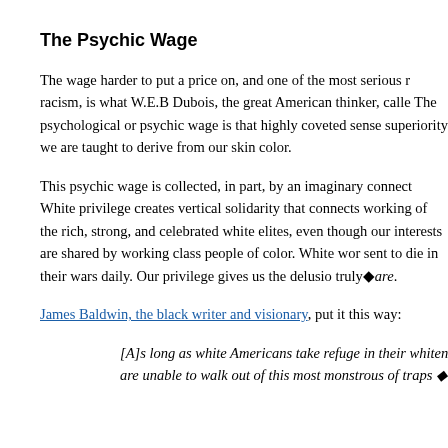The Psychic Wage
The wage harder to put a price on, and one of the most serious results of racism, is what W.E.B Dubois, the great American thinker, called. The psychological or psychic wage is that highly coveted sense of superiority we are taught to derive from our skin color.
This psychic wage is collected, in part, by an imaginary connect. White privilege creates vertical solidarity that connects working of the rich, strong, and celebrated white elites, even though our interests are shared by working class people of color. White wor sent to die in their wars daily. Our privilege gives us the delusio truly� are.
James Baldwin, the black writer and visionary, put it this way:
[A]s long as white Americans take refuge in their whiten are unable to walk out of this most monstrous of traps �